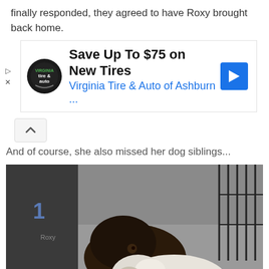finally responded, they agreed to have Roxy brought back home.
[Figure (screenshot): Advertisement banner for Virginia Tire & Auto of Ashburn offering Save Up To $75 on New Tires]
And of course, she also missed her dog siblings...
[Figure (photo): Photo of two dogs, one dark brown/black and one white, appearing to play or nuzzle near a cage/crate indoors]